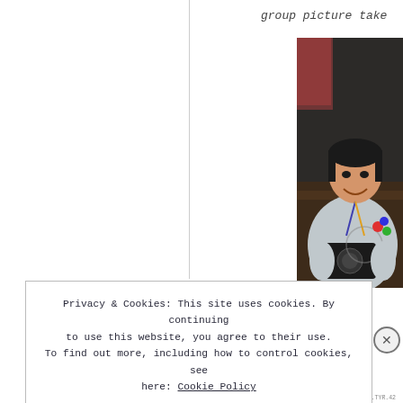group picture take
[Figure (photo): A person smiling and holding a camera, standing indoors with a flag visible in the background.]
Privacy & Cookies: This site uses cookies. By continuing to use this website, you agree to their use. To find out more, including how to control cookies, see here: Cookie Policy
Close and accept